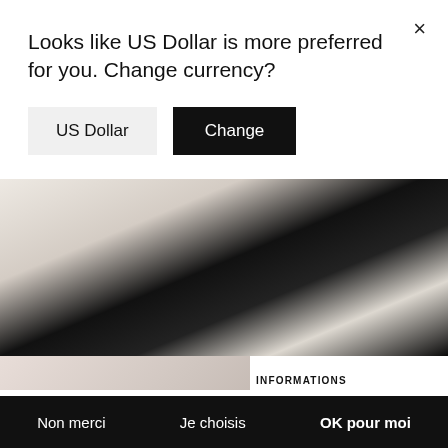Looks like US Dollar is more preferred for you. Change currency?
US Dollar
Change
[Figure (photo): Fashion clothing photo showing draped fabric in black and white/cream tones]
INFORMATIONS
Stone Paris utilise des cookies pour personnaliser le contenu et vous offrir une expérience sur mesure. En cliquant sur « Autoriser tous les cookies » vous acceptez le stockage de ces cookies sur votre appareil.
Consentements certifiés par axeptio
Non merci
Je choisis
OK pour moi